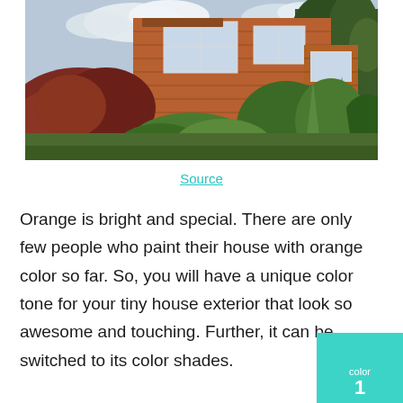[Figure (photo): Exterior photo of a small orange/cedar-sided house with white-trimmed windows, surrounded by lush green and red-leafed plants and a gravel path in the foreground, taken on a partly cloudy day.]
Source
Orange is bright and special. There are only few people who paint their house with orange color so far. So, you will have a unique color tone for your tiny house exterior that look so awesome and touching. Further, it can be switched to its color shades.